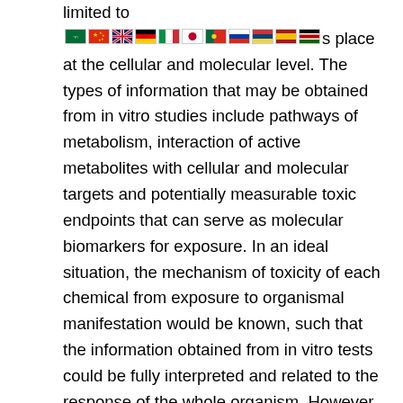limited to [flags] place at the cellular and molecular level. The types of information that may be obtained from in vitro studies include pathways of metabolism, interaction of active metabolites with cellular and molecular targets and potentially measurable toxic endpoints that can serve as molecular biomarkers for exposure. In an ideal situation, the mechanism of toxicity of each chemical from exposure to organismal manifestation would be known, such that the information obtained from in vitro tests could be fully interpreted and related to the response of the whole organism. However, this is virtually impossible, since relatively few complete toxicological mechanisms have been elucidated. Thus, toxicologists are faced with a situation in which the results of an in vitro test cannot be used as an entirely accurate prediction of in vivo toxicity because the mechanism is unknown. However, frequently during the process of developing an in vitro test, components of the cellular and molecular mechanism(s) of toxicity are elucidated.